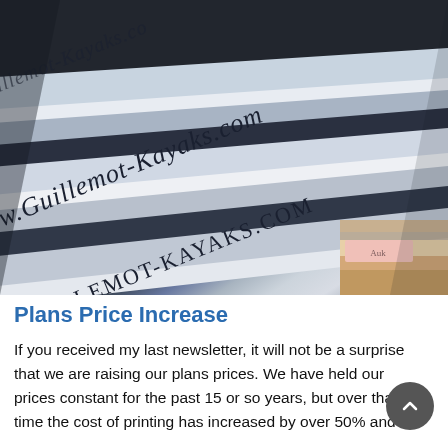[Figure (photo): Close-up photo of printed kayak plan sheets stacked at an angle, showing 'www.Guillemot-Kayaks.com' and 'WWW.GUILLEMOT-KAYAKS.COM' printed along the edges of the plans. The sheets are silver/gray metallic-looking with diagonal text branding. A pink/beige tab is visible on the right side.]
Plans Price Increase
If you received my last newsletter, it will not be a surprise that we are raising our plans prices. We have held our prices constant for the past 15 or so years, but over that time the cost of printing has increased by over 50% and